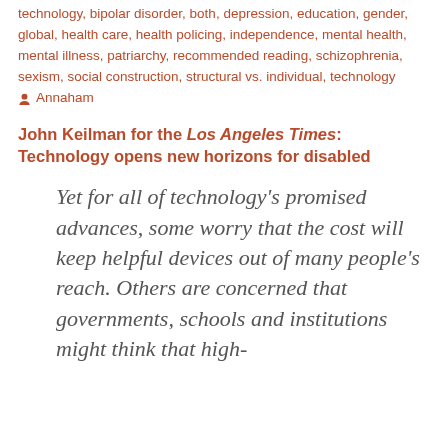technology, bipolar disorder, both, depression, education, gender, global, health care, health policing, independence, mental health, mental illness, patriarchy, recommended reading, schizophrenia, sexism, social construction, structural vs. individual, technology
Annaham
John Keilman for the Los Angeles Times: Technology opens new horizons for disabled
Yet for all of technology’s promised advances, some worry that the cost will keep helpful devices out of many people’s reach. Others are concerned that governments, schools and institutions might think that high-